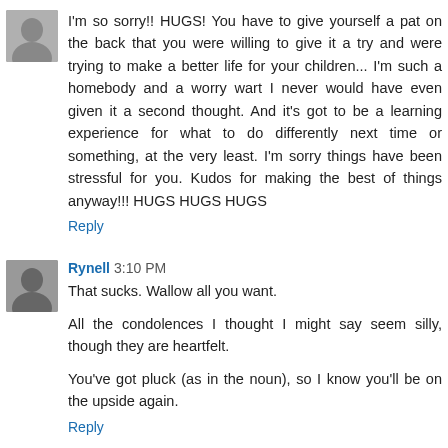[Figure (photo): Small avatar photo of a person, grayscale, top-left of first comment]
I'm so sorry!! HUGS! You have to give yourself a pat on the back that you were willing to give it a try and were trying to make a better life for your children... I'm such a homebody and a worry wart I never would have even given it a second thought. And it's got to be a learning experience for what to do differently next time or something, at the very least. I'm sorry things have been stressful for you. Kudos for making the best of things anyway!!! HUGS HUGS HUGS
Reply
[Figure (photo): Small avatar photo of Rynell, grayscale, top-left of second comment]
Rynell 3:10 PM
That sucks. Wallow all you want.
All the condolences I thought I might say seem silly, though they are heartfelt.
You've got pluck (as in the noun), so I know you'll be on the upside again.
Reply